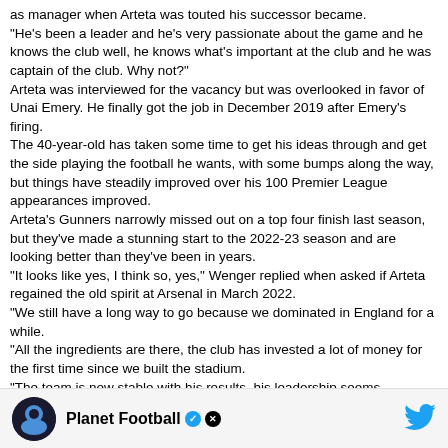as manager when Arteta was touted his successor became. "He's been a leader and he's very passionate about the game and he knows the club well, he knows what's important at the club and he was captain of the club. Why not?" Arteta was interviewed for the vacancy but was overlooked in favor of Unai Emery. He finally got the job in December 2019 after Emery's firing. The 40-year-old has taken some time to get his ideas through and get the side playing the football he wants, with some bumps along the way, but things have steadily improved over his 100 Premier League appearances improved. Arteta's Gunners narrowly missed out on a top four finish last season, but they've made a stunning start to the 2022-23 season and are looking better than they've been in years. "It looks like yes, I think so, yes," Wenger replied when asked if Arteta regained the old spirit at Arsenal in March 2022. "We still have a long way to go because we dominated in England for a while. "All the ingredients are there, the club has invested a lot of money for the first time since we built the stadium. "The team is now stable with his results, his leadership seems accepted by the players and there is a connection between him and the team. "So overall what you see from the outside is positive." It would be an incredible achievement if the current manager could emulate Wenger, who led Arsenal to three Premier League titles and made a quick impression on his arrival at Highbury in 1996. Here's how Arteta's first 100 games as Premier League manager compare to Wenger's first 100:
Mikel Arteta
Won: 53Draw: 16thLost: 31st
Goals for: 162Goals conceded: 111To zero: 34
Points per game: 1.75Win Rate: 53%Loss rate: 31%
Goals per game: 1.62Goals conceded per game: 1.11
[Figure (logo): Planet Football Twitter/X card footer with circular logo, Planet Football text, verified badge, X badge, and Twitter bird icon]